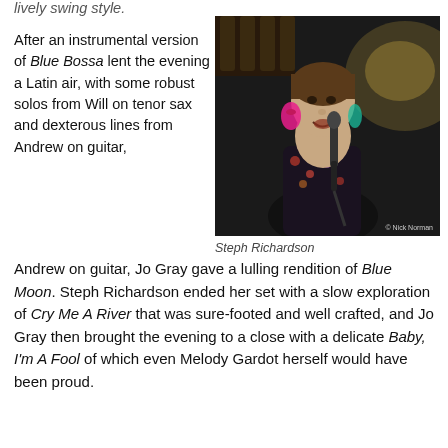lively swing style.
After an instrumental version of Blue Bossa lent the evening a Latin air, with some robust solos from Will on tenor sax and dexterous lines from Andrew on guitar, Jo Gray gave a lulling rendition of Blue Moon. Steph Richardson ended her set with a slow exploration of Cry Me A River that was sure-footed and well crafted, and Jo Gray then brought the evening to a close with a delicate Baby, I'm A Fool of which even Melody Gardot herself would have been proud.
[Figure (photo): Live performance photo of Steph Richardson singing into a microphone, wearing a floral top and pink earrings, on a dark stage. Photo credit: Nick Norman.]
Steph Richardson